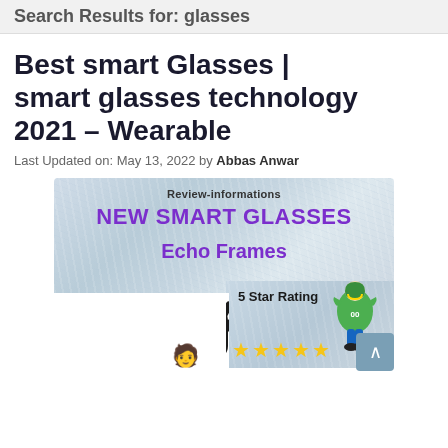Search Results for: glasses
Best smart Glasses | smart glasses technology 2021 – Wearable
Last Updated on: May 13, 2022 by Abbas Anwar
[Figure (illustration): Promotional banner image for smart glasses featuring 'Review-informations', 'NEW SMART GLASSES', 'Echo Frames' text in purple on a frosted background, with a large black glasses illustration on the lower left, a football player character on the right, a 5 Star Rating label with gold stars, and an emoji figure at the bottom center.]